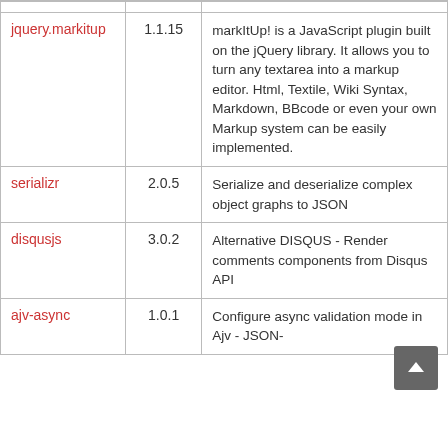| Package | Version | Description |
| --- | --- | --- |
| jquery.markitup | 1.1.15 | markItUp! is a JavaScript plugin built on the jQuery library. It allows you to turn any textarea into a markup editor. Html, Textile, Wiki Syntax, Markdown, BBcode or even your own Markup system can be easily implemented. |
| serializr | 2.0.5 | Serialize and deserialize complex object graphs to JSON |
| disqusjs | 3.0.2 | Alternative DISQUS - Render comments components from Disqus API |
| ajv-async | 1.0.1 | Configure async validation mode in Ajv - JSON- |